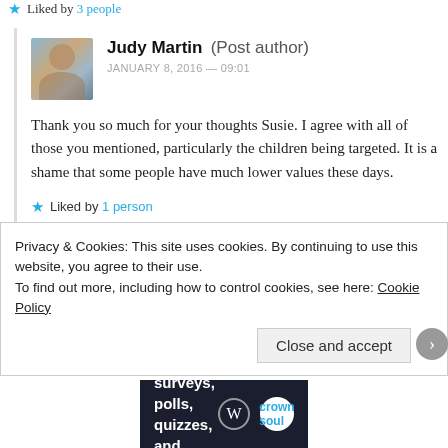★ Liked by 3 people
Judy Martin (Post author)
JANUARY 8, 2016 — 09:01
Thank you so much for your thoughts Susie. I agree with all of those you mentioned, particularly the children being targeted. It is a shame that some people have much lower values these days.
★ Liked by 1 person
Privacy & Cookies: This site uses cookies. By continuing to use this website, you agree to their use.
To find out more, including how to control cookies, see here: Cookie Policy
Close and accept
Advertisements
[Figure (other): Advertisement banner: dark navy background with text 'Create surveys, polls, quizzes, and forms.' with WordPress and crown/survey icons]